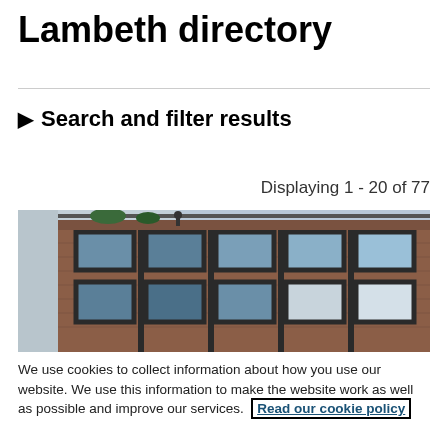Lambeth directory
▶ Search and filter results
Displaying 1 - 20 of 77
[Figure (photo): Exterior of a modern brick building with large windows and a rooftop terrace, photographed from street level.]
We use cookies to collect information about how you use our website. We use this information to make the website work as well as possible and improve our services. Read our cookie policy